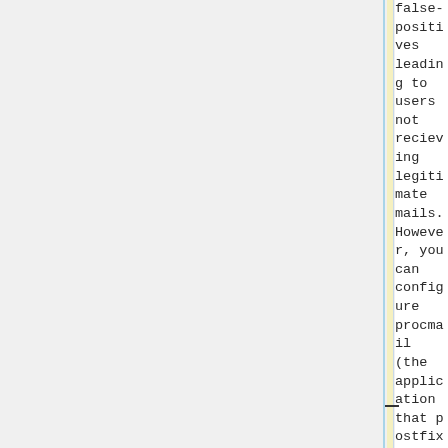false-positives leading to users not recieving legitimate mails. However, you can configure procmail (the application that postfix calls to deliver any mail that it recieved to the user that it was sent to) to pipe your